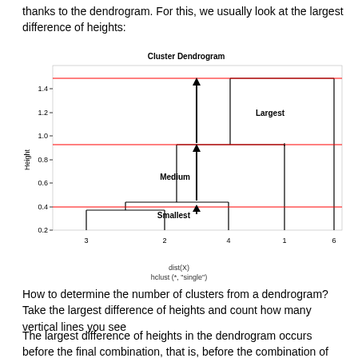thanks to the dendrogram. For this, we usually look at the largest difference of heights:
[Figure (other): Cluster Dendrogram annotated with three horizontal red lines marking height levels, and three vertical arrows labeled Smallest, Medium, and Largest indicating gaps between merge heights. Nodes 3, 2, 4, 1, 6 on x-axis. Y-axis labeled Height from 0.2 to 1.4.]
dist(X)
hclust (*, "single")
How to determine the number of clusters from a dendrogram? Take the largest difference of heights and count how many vertical lines you see
The largest difference of heights in the dendrogram occurs before the final combination, that is, before the combination of the group 2 & 3 & 4